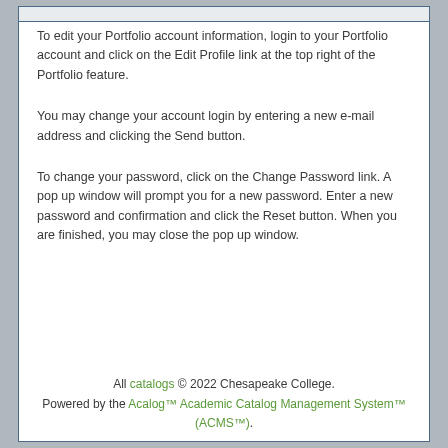To edit your Portfolio account information, login to your Portfolio account and click on the Edit Profile link at the top right of the Portfolio feature.
You may change your account login by entering a new e-mail address and clicking the Send button.
To change your password, click on the Change Password link. A pop up window will prompt you for a new password. Enter a new password and confirmation and click the Reset button. When you are finished, you may close the pop up window.
All catalogs © 2022 Chesapeake College. Powered by the Acalog™ Academic Catalog Management System™ (ACMS™).